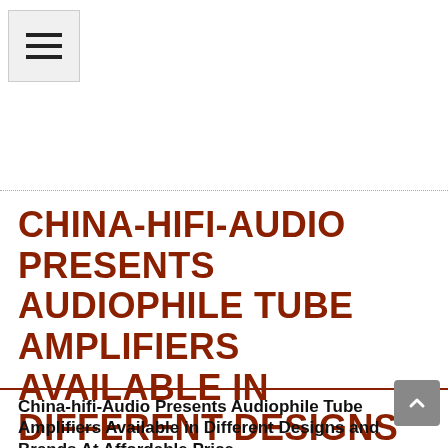[Figure (other): Hamburger menu button icon (three horizontal lines) in a light grey box]
CHINA-HIFI-AUDIO PRESENTS AUDIOPHILE TUBE AMPLIFIERS AVAILABLE IN DIFFERENT DESIGNS AND BRANDS AT AFFORDABLE PRICE FOR SOUND LOVERS
China-hifi-Audio Presents Audiophile Tube Amplifiers Available in Different Designs and Brands At Affordable Price